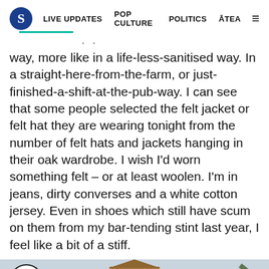S | LIVE UPDATES | POP CULTURE | POLITICS | ĀTEA
way, more like in a life-less-sanitised way. In a straight-here-from-the-farm, or just-finished-a-shift-at-the-pub-way. I can see that some people selected the felt jacket or felt hat they are wearing tonight from the number of felt hats and jackets hanging in their oak wardrobe. I wish I'd worn something felt – or at least woolen. I'm in jeans, dirty converses and a white cotton jersey. Even in shoes which still have scum on them from my bar-tending stint last year, I feel like a bit of a stiff.
[Figure (photo): Clock tower building photographed from below, with palm fronds visible on the right side. Gray sky background.]